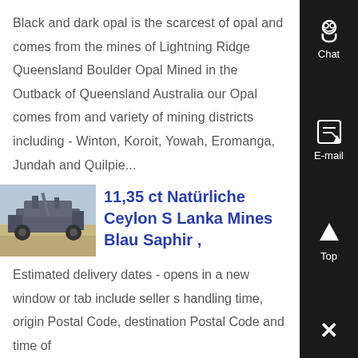Black and dark opal is the scarcest of opal and comes from the mines of Lightning Ridge Queensland Boulder Opal Mined in the Outback of Queensland Australia our Opal comes from and variety of mining districts including - Winton, Koroit, Yowah, Eromanga, Jundah and Quilpie...
[Figure (photo): Small thumbnail photo of mining machinery in an outdoor/outback setting]
11,35 ct Natürliche Ceylon S Lanka Mines Blau Saphir ,
Estimated delivery dates - opens in a new window or tab include seller s handling time, origin Postal Code, destination Postal Code and time of